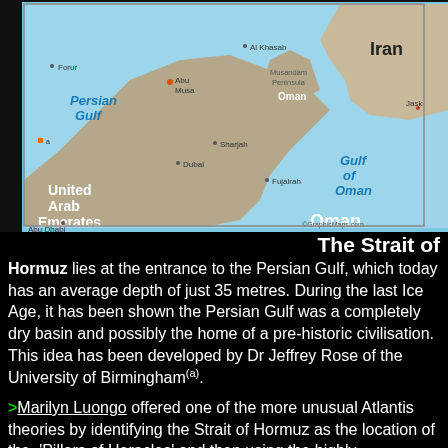[Figure (map): Map showing the Strait of Hormuz region including Iran, Persian Gulf, Gulf of Oman, United Arab Emirates, Oman, with labeled cities: Forur, Al Khasab, Abu Musa, Musandam Peninsula, Jask, Sharjah, Dubai, Fujairah, Abu Dhabi. Copyright GraphicMaps.com.]
The Strait of Hormuz lies at the entrance to the Persian Gulf, which today has an average depth of just 35 metres. During the last Ice Age, it has been shown the Persian Gulf was a completely dry basin and possibly the home of a pre-historic civilisation. This idea has been developed by Dr Jeffrey Rose of the University of Birmingham(a).
>Marilyn Luongo offered one of the more unusual Atlantis theories by identifying the Strait of Hormuz as the location of the 'Pillars of Heracles' and then using the highly controversial interpretation of 'meizon' meaning 'between' rather than the more generally accepted 'greater' she proceeds to argue that Mesopotamia (modern Iraq) is